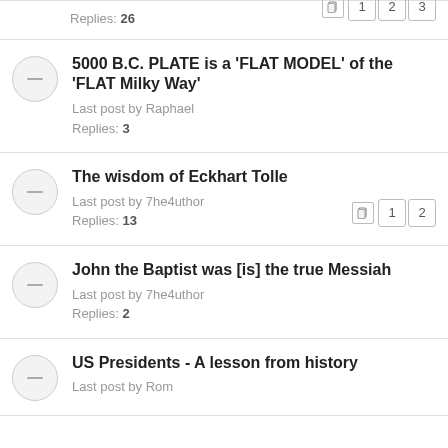Replies: 26 | pages: 1 2 3
5000 B.C. PLATE is a 'FLAT MODEL' of the 'FLAT Milky Way'
Last post by Raphael
Replies: 3
The wisdom of Eckhart Tolle
Last post by 7he4uthor
Replies: 13 | pages: 1 2
John the Baptist was [is] the true Messiah
Last post by 7he4uthor
Replies: 2
US Presidents - A lesson from history
Last post by Rom